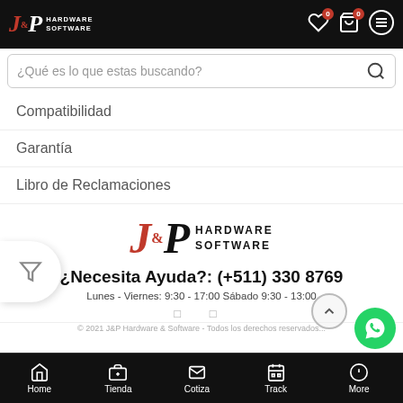J&P Hardware Software — header with search bar
Compatibilidad
Garantía
Libro de Reclamaciones
[Figure (logo): J&P Hardware Software logo in footer section]
¿Necesita Ayuda?: (+511) 330 8769
Lunes - Viernes: 9:30 - 17:00 Sábado 9:30 - 13:00
Home | Tienda | Cotiza | Track | More